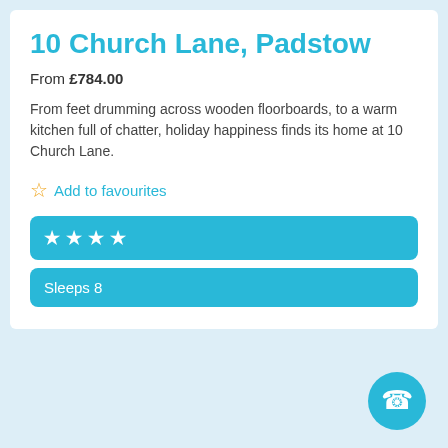10 Church Lane, Padstow
From £784.00
From feet drumming across wooden floorboards, to a warm kitchen full of chatter, holiday happiness finds its home at 10 Church Lane.
☆ Add to favourites
★★★★
Sleeps 8
[Figure (illustration): Cyan circle with a white telephone/contact icon]